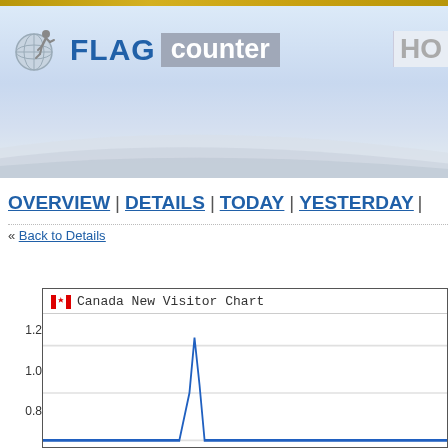[Figure (logo): Flag Counter logo with globe/flag icon, FLAG in blue bold text and 'counter' in white on gray background]
HO
OVERVIEW | DETAILS | TODAY | YESTERDAY |
« Back to Details
[Figure (line-chart): Line chart titled 'Canada New Visitor Chart' with Canadian flag icon. Y-axis shows values 0.8, 1.0, 1.2. Shows a spike near 1.0 value. Chart is partially visible, cut off at bottom.]